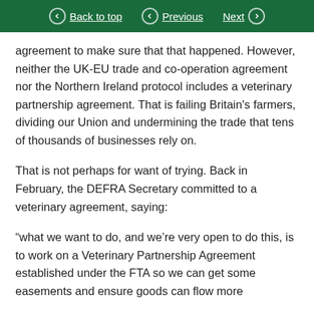Back to top | Previous | Next
agreement to make sure that that happened. However, neither the UK-EU trade and co-operation agreement nor the Northern Ireland protocol includes a veterinary partnership agreement. That is failing Britain's farmers, dividing our Union and undermining the trade that tens of thousands of businesses rely on.
That is not perhaps for want of trying. Back in February, the DEFRA Secretary committed to a veterinary agreement, saying:
“what we want to do, and we’re very open to do this, is to work on a Veterinary Partnership Agreement established under the FTA so we can get some easements and ensure goods can flow more